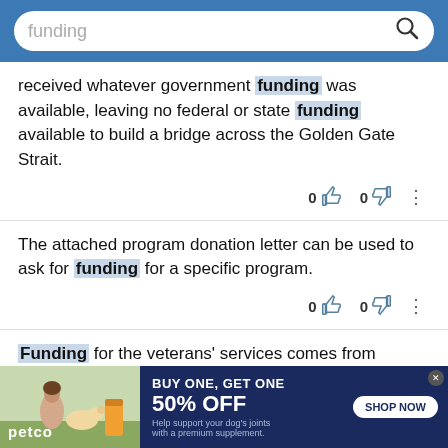funding [search bar]
received whatever government funding was available, leaving no federal or state funding available to build a bridge across the Golden Gate Strait.
The attached program donation letter can be used to ask for funding for a specific program.
Funding for the veterans' services comes from donations made to the organization.
[Figure (screenshot): Petco advertisement banner: BUY ONE, GET ONE 50% OFF. Help support your dog's joints with a premium supplement. SHOP NOW button. Petco logo with photo of woman with dog.]